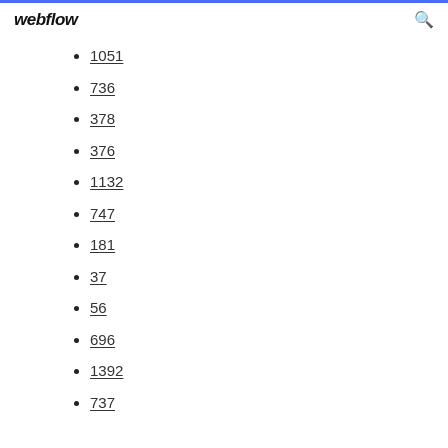webflow
1051
736
378
376
1132
747
181
37
56
696
1392
737